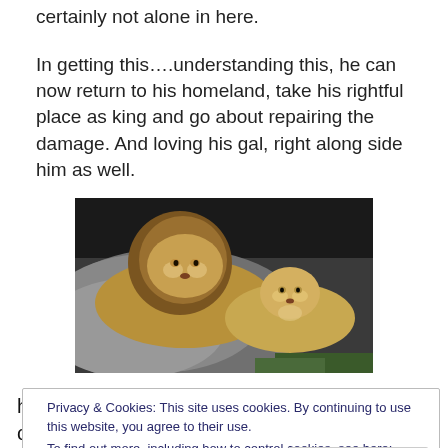certainly not alone in here.
In getting this….understanding this, he can now return to his homeland, take his rightful place as king and go about repairing the damage. And loving his gal, right along side him as well.
[Figure (photo): Two lions resting together on a rock, one larger with a mane on the left and a smaller lioness on the right, against a dark background with some green grass visible.]
Privacy & Cookies: This site uses cookies. By continuing to use this website, you agree to their use.
To find out more, including how to control cookies, see here: Cookie Policy
has gone astray and some of the root originating factors